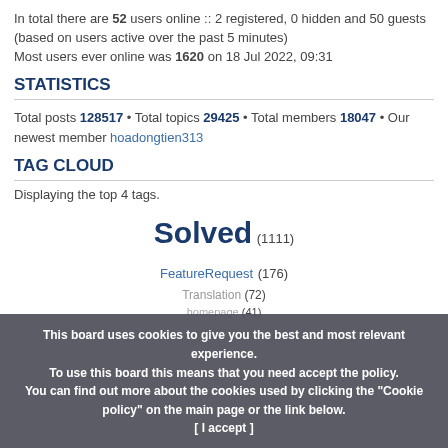In total there are 52 users online :: 2 registered, 0 hidden and 50 guests (based on users active over the past 5 minutes) Most users ever online was 1620 on 18 Jul 2022, 09:31
STATISTICS
Total posts 128517 • Total topics 29425 • Total members 18047 • Our newest member hoadongtien313
TAG CLOUD
Displaying the top 4 tags.
Solved (1111)
FeatureRequest (176)
Translation (72)
homepage (41)
This board uses cookies to give you the best and most relevant experience. To use this board this means that you need accept the policy. You can find out more about the cookies used by clicking the "Cookie policy" on the main page or the link below. [ I accept ]